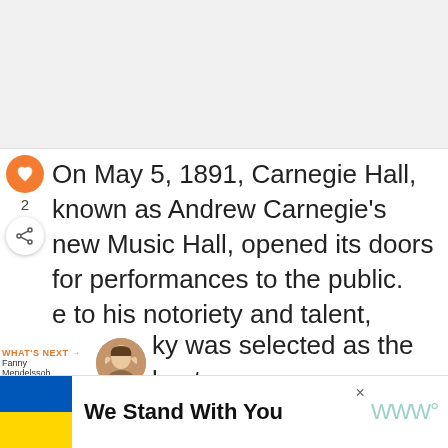[Figure (photo): Blank/placeholder image area at top of page]
On May 5, 1891, Carnegie Hall, known as Andrew Carnegie's new Music Hall, opened its doors for performances to the public.
[Figure (infographic): UI overlay: orange heart button, like count '2', share button on left sidebar]
...e to his notoriety and talent,
[Figure (infographic): WHAT'S NEXT widget showing Fanny Mendelssoh... with portrait thumbnail]
...ky was selected as the best choice for conducting its first-ever
[Figure (infographic): Advertisement banner: Ukrainian flag with text 'We Stand With You' and close button]